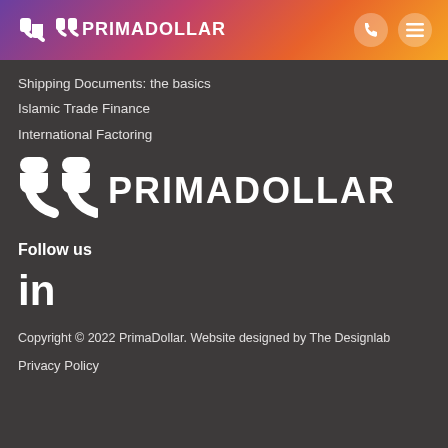PRIMADOLLAR
Shipping Documents: the basics
Islamic Trade Finance
International Factoring
[Figure (logo): PrimaDollar large white logo with icon and text PRIMADOLLAR]
Follow us
[Figure (logo): LinkedIn icon in white]
Copyright © 2022 PrimaDollar. Website designed by The Designlab
Privacy Policy